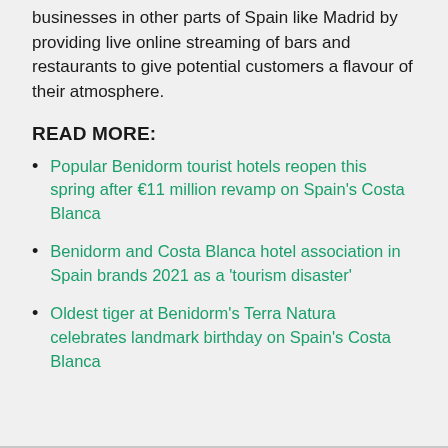businesses in other parts of Spain like Madrid by providing live online streaming of bars and restaurants to give potential customers a flavour of their atmosphere.
READ MORE:
Popular Benidorm tourist hotels reopen this spring after €11 million revamp on Spain's Costa Blanca
Benidorm and Costa Blanca hotel association in Spain brands 2021 as a 'tourism disaster'
Oldest tiger at Benidorm's Terra Natura celebrates landmark birthday on Spain's Costa Blanca